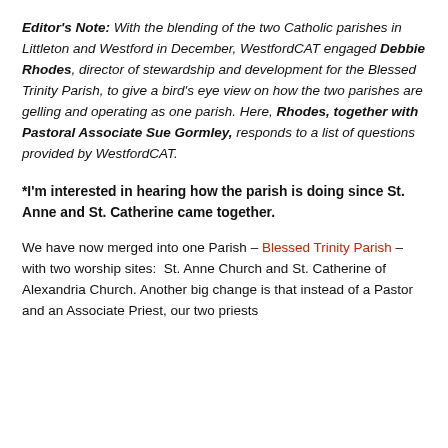Editor's Note: With the blending of the two Catholic parishes in Littleton and Westford in December, WestfordCAT engaged Debbie Rhodes, director of stewardship and development for the Blessed Trinity Parish, to give a bird's eye view on how the two parishes are gelling and operating as one parish. Here, Rhodes, together with Pastoral Associate Sue Gormley, responds to a list of questions provided by WestfordCAT.
*I'm interested in hearing how the parish is doing since St. Anne and St. Catherine came together.
We have now merged into one Parish – Blessed Trinity Parish – with two worship sites:  St. Anne Church and St. Catherine of Alexandria Church. Another big change is that instead of a Pastor and an Associate Priest, our two priests